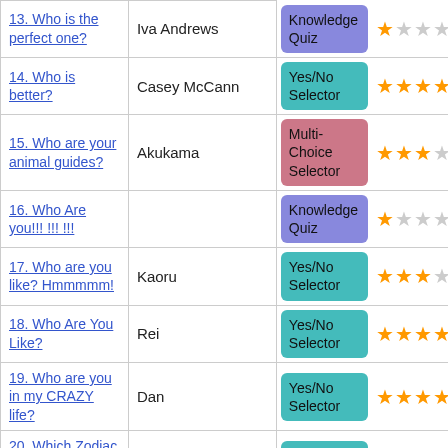| Quiz Title | Author | Type | Rating |
| --- | --- | --- | --- |
| 13. Who is the perfect one? | Iva Andrews | Knowledge Quiz | 1/5 |
| 14. Who is better? | Casey McCann | Yes/No Selector | 4/5 |
| 15. Who are your animal guides? | Akukama | Multi-Choice Selector | 3.5/5 |
| 16. Who Are you!!! !!! !!! |  | Knowledge Quiz | 1/5 |
| 17. Who are you like? Hmmmmm! | Kaoru | Yes/No Selector | 3/5 |
| 18. Who Are You Like? | Rei | Yes/No Selector | 4/5 |
| 19. Who are you in my CRAZY life? | Dan | Yes/No Selector | 4/5 |
| 20. Which Zodiac Sign do you act like? | Keebeck | Yes/No Selector | 4/5 |
| 21. Which Y... |  | Yes/No Selector |  |